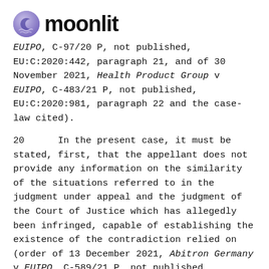moonlit
EUIPO, C-97/20 P, not published, EU:C:2020:442, paragraph 21, and of 30 November 2021, Health Product Group v EUIPO, C-483/21 P, not published, EU:C:2020:981, paragraph 22 and the case-law cited).
20      In the present case, it must be stated, first, that the appellant does not provide any information on the similarity of the situations referred to in the judgment under appeal and the judgment of the Court of Justice which has allegedly been infringed, capable of establishing the existence of the contradiction relied on (order of 13 December 2021, Abitron Germany v EUIPO, C-589/21 P, not published, EU:C:2021:1012, paragraph 19). Secondly, the appellant does not explain precisely and clearly